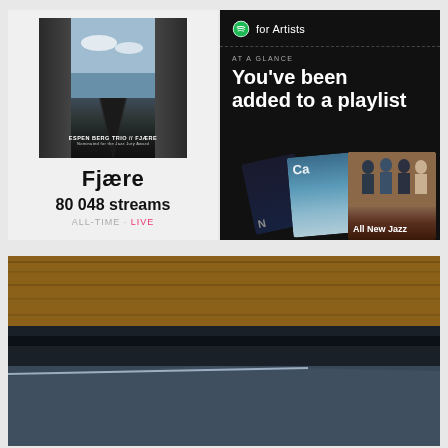[Figure (screenshot): Spotify track page showing album art for 'Fjære' by Espen Berg Trio, track name, stream count of 80 048, and ALL-TIME / LIVE toggle]
[Figure (screenshot): Spotify for Artists notification: 'AT A GLANCE - You've been added to a playlist' with playlist cover images including 'All New Jazz']
[Figure (photo): Close-up photo of a wooden surface (possibly a piano or furniture) with a reflective glass element visible below]